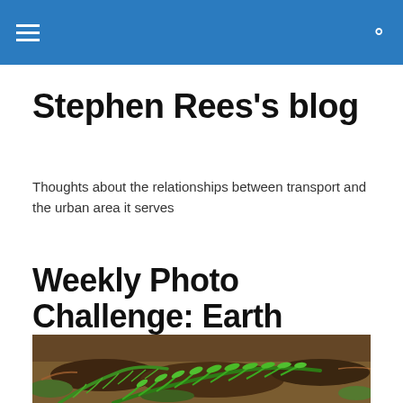Stephen Rees's blog
Thoughts about the relationships between transport and the urban area it serves
Weekly Photo Challenge: Earth
[Figure (photo): A photograph of fern fronds growing on mossy earth and soil, showing green fern leaves spread across brown dirt with moss.]